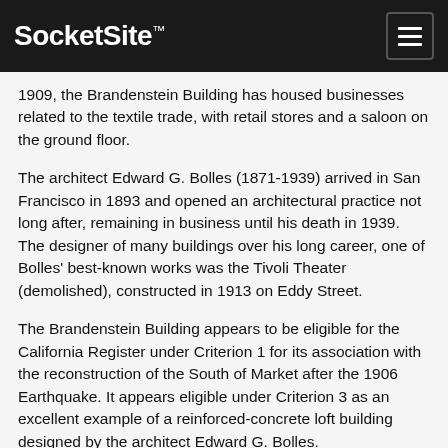SocketSite™
1909, the Brandenstein Building has housed businesses related to the textile trade, with retail stores and a saloon on the ground floor.
The architect Edward G. Bolles (1871-1939) arrived in San Francisco in 1893 and opened an architectural practice not long after, remaining in business until his death in 1939. The designer of many buildings over his long career, one of Bolles' best-known works was the Tivoli Theater (demolished), constructed in 1913 on Eddy Street.
The Brandenstein Building appears to be eligible for the California Register under Criterion 1 for its association with the reconstruction of the South of Market after the 1906 Earthquake. It appears eligible under Criterion 3 as an excellent example of a reinforced-concrete loft building designed by the architect Edward G. Bolles.
This building is part of a group of tall office buildings constructed on First Street between Mission and Market Streets after the 1906 Earthquake by members of San Francisco's German-